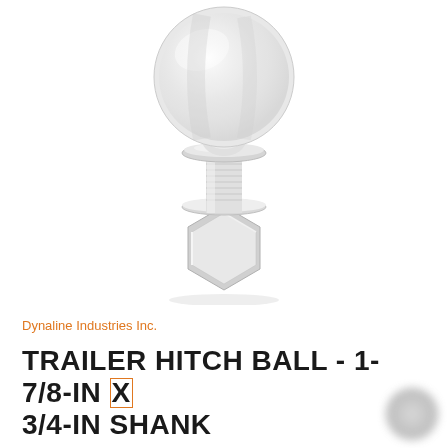[Figure (photo): A chrome/silver trailer hitch ball with threaded shank and hex nut, photographed on a white background. The ball is spherical on top, narrowing to a threaded cylindrical shank with a flat washer and hexagonal nut at the bottom.]
Dynaline Industries Inc.
TRAILER HITCH BALL - 1-7/8-IN X 3/4-IN SHANK